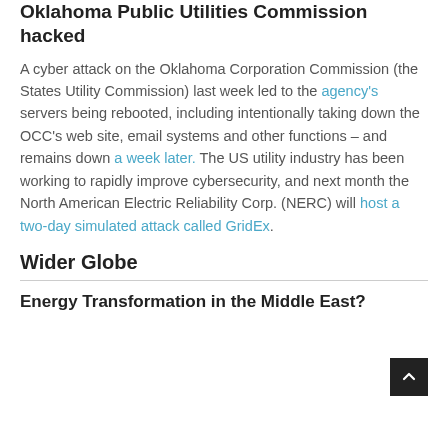Oklahoma Public Utilities Commission hacked
A cyber attack on the Oklahoma Corporation Commission (the States Utility Commission) last week led to the agency's servers being rebooted, including intentionally taking down the OCC's web site, email systems and other functions – and remains down a week later. The US utility industry has been working to rapidly improve cybersecurity, and next month the North American Electric Reliability Corp. (NERC) will host a two-day simulated attack called GridEx.
Wider Globe
Energy Transformation in the Middle East?